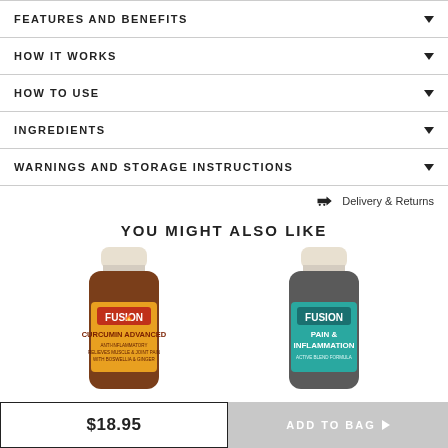FEATURES AND BENEFITS
HOW IT WORKS
HOW TO USE
INGREDIENTS
WARNINGS AND STORAGE INSTRUCTIONS
✈ Delivery & Returns
YOU MIGHT ALSO LIKE
[Figure (photo): Fusion Curcumin Advanced supplement bottle with orange/gold label]
[Figure (photo): Fusion Pain & Inflammation supplement bottle with teal label]
$18.95
ADD TO BAG